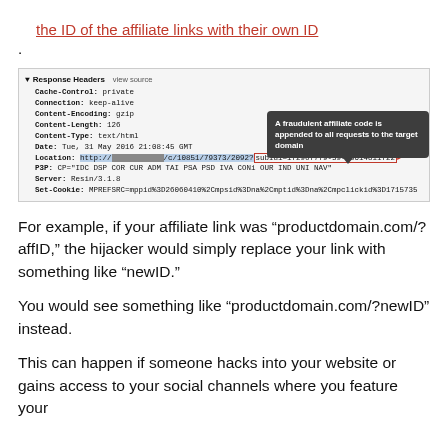the ID of the affiliate links with their own ID.
[Figure (screenshot): Browser developer tools screenshot showing Response Headers panel with Cache-Control, Connection, Content-Encoding, Content-Length, Content-Type, Date, Location (with highlighted URL containing subId1 parameter circled in red), P3P, Server, and Set-Cookie fields. A dark tooltip overlay reads: 'A fraudulent affiliate code is appended to all requests to the target domain']
For example, if your affiliate link was “productdomain.com/?affID,” the hijacker would simply replace your link with something like “newID.”
You would see something like “productdomain.com/?newID” instead.
This can happen if someone hacks into your website or gains access to your social channels where you feature your